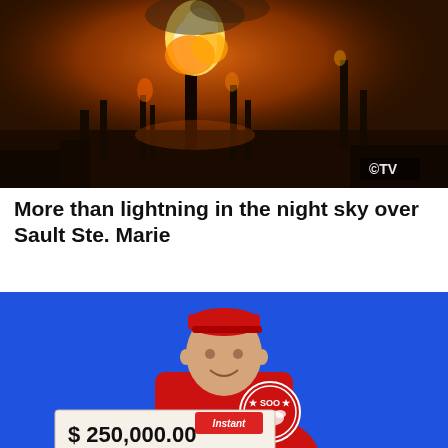[Figure (photo): Night photo of a large industrial fire with bright orange and yellow flames against a dark orange sky, CTV logo visible in lower right corner. Industrial structures and silhouettes visible.]
More than lightning in the night sky over Sault Ste. Marie
[Figure (photo): Man in red Soo Greyhounds shirt and red cap smiling and holding a large cheque for $250,000.00 with Instant lottery branding, against a bright blue background.]